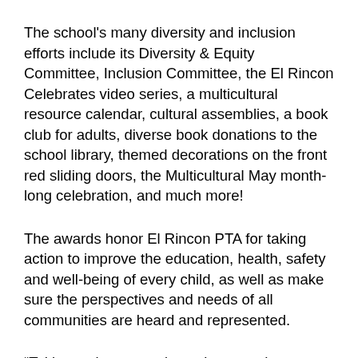The school's many diversity and inclusion efforts include its Diversity & Equity Committee, Inclusion Committee, the El Rincon Celebrates video series, a multicultural resource calendar, cultural assemblies, a book club for adults, diverse book donations to the school library, themed decorations on the front red sliding doors, the Multicultural May month-long celebration, and much more!
The awards honor El Rincon PTA for taking action to improve the education, health, safety and well-being of every child, as well as make sure the perspectives and needs of all communities are heard and represented.
“Taking action every day to improve the education, health, safety and well-being of every child and making sure the perspectives and needs of all communities are heard and represented is more important than ever amid the COVID-19 pandemic, the gun and school